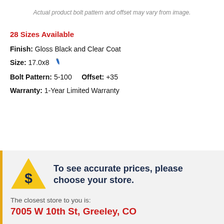Actual product bolt pattern and offset may vary from image.
28 Sizes Available
Finish: Gloss Black and Clear Coat
Size: 17.0x8
Bolt Pattern: 5-100    Offset: +35
Warranty: 1-Year Limited Warranty
To see accurate prices, please choose your store.
The closest store to you is:
7005 W 10th St, Greeley, CO